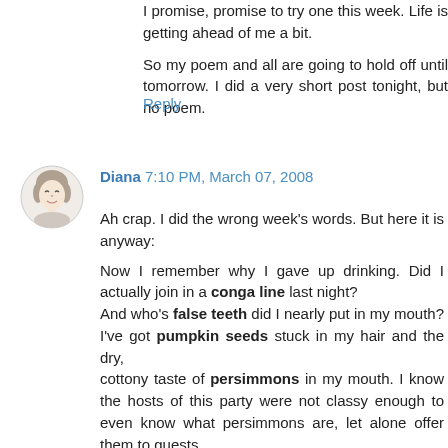I promise, promise to try one this week. Life is getting ahead of me a bit.
So my poem and all are going to hold off until tomorrow. I did a very short post tonight, but no poem.
Reply
Diana 7:10 PM, March 07, 2008
Ah crap. I did the wrong week's words. But here it is anyway:
Now I remember why I gave up drinking. Did I actually join in a conga line last night?
And who's false teeth did I nearly put in my mouth? I've got pumpkin seeds stuck in my hair and the dry,
cottony taste of persimmons in my mouth. I know the hosts of this party were not classy enough to even know what persimmons are, let alone offer them to guests.
Someone named "Joe Blow" left his autograph on my ass, along with the kind message, "You're such a bitch, but that's what makes you cool."